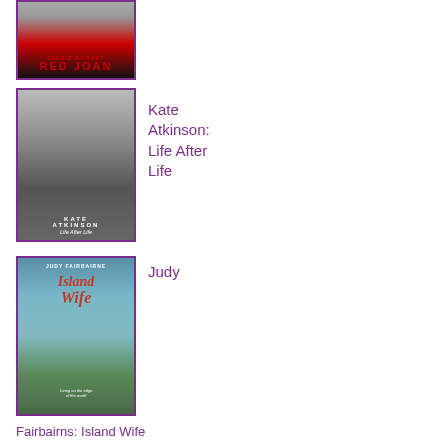[Figure (illustration): Book cover: Red Joan by Jennie Rooney, showing figures and red title text]
[Figure (illustration): Book cover: Life After Life by Kate Atkinson, showing a figure in an archway]
Kate Atkinson: Life After Life
[Figure (illustration): Book cover: Island Wife by Judy Fairbairns, showing a person standing on a beach with arms outstretched]
Judy
Fairbairns: Island Wife